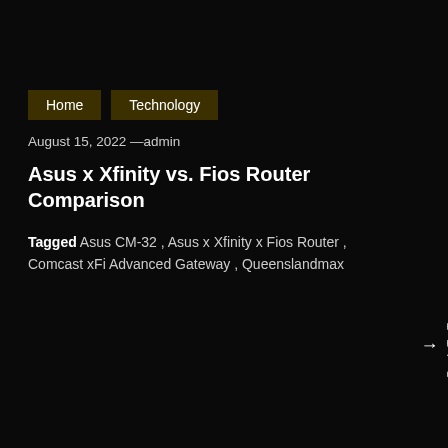Home  Technology
August 15, 2022 —admin
Asus x Xfinity vs. Fios Router Comparison
Tagged Asus CM-32 , Asus x Xfinity x Fios Router , Comcast xFi Advanced Gateway , Queenslandmax
Back To Top